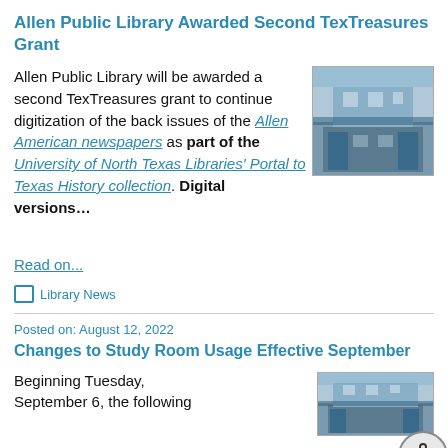Allen Public Library Awarded Second TexTreasures Grant
[Figure (photo): Photo of Allen Public Library building exterior]
Allen Public Library will be awarded a second TexTreasures grant to continue digitization of the back issues of the Allen American newspapers as part of the University of North Texas Libraries' Portal to Texas History collection. Digital versions…
Read on...
Library News
Posted on: August 12, 2022
Changes to Study Room Usage Effective September
[Figure (photo): Photo of Allen Public Library building exterior, second instance]
Beginning Tuesday, September 6, the following